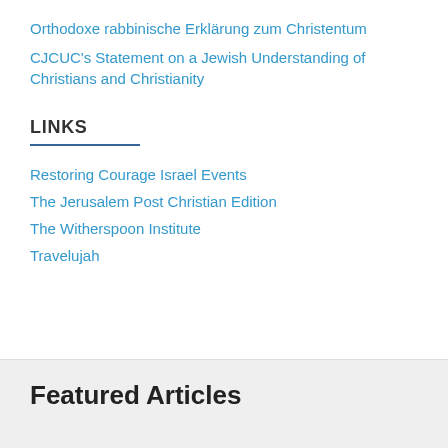Orthodoxe rabbinische Erklärung zum Christentum
CJCUC's Statement on a Jewish Understanding of Christians and Christianity
LINKS
Restoring Courage Israel Events
The Jerusalem Post Christian Edition
The Witherspoon Institute
Travelujah
Featured Articles